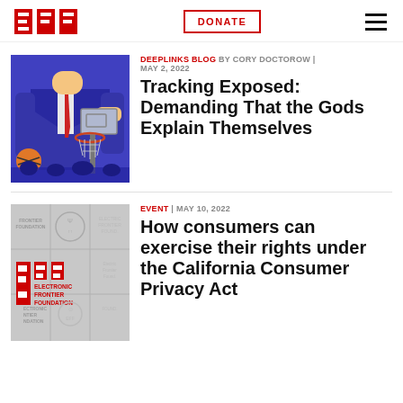EFF | DONATE | Menu
[Figure (illustration): Illustration of a person in a blue suit holding a basketball near a basketball hoop]
DEEPLINKS BLOG BY CORY DOCTOROW | MAY 2, 2022
Tracking Exposed: Demanding That the Gods Explain Themselves
[Figure (logo): Electronic Frontier Foundation logo with EFF text on grey tiled background]
EVENT | MAY 10, 2022
How consumers can exercise their rights under the California Consumer Privacy Act